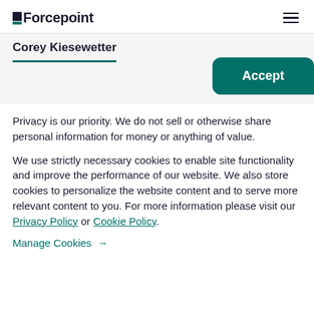Forcepoint
Corey Kiesewetter
Accept
Privacy is our priority. We do not sell or otherwise share personal information for money or anything of value.
We use strictly necessary cookies to enable site functionality and improve the performance of our website. We also store cookies to personalize the website content and to serve more relevant content to you. For more information please visit our Privacy Policy or Cookie Policy.
Manage Cookies →